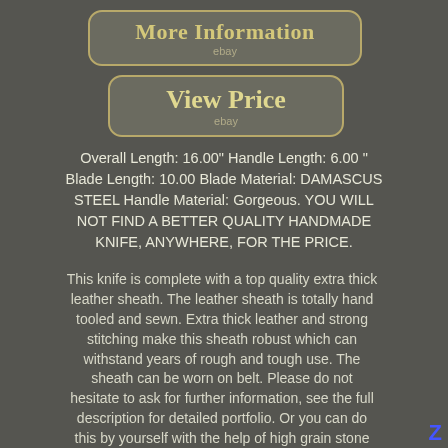[Figure (other): Button with 'More Information' text and 'ebay' label, rounded rectangle border in gold/tan color on dark background]
[Figure (other): Button with 'View Price' text and 'ebay' label, rounded rectangle border in gold/tan color on dark background]
Overall Length: 16.00" Handle Length: 6.00 " Blade Length: 10.00 Blade Material: DAMASCUS STEEL Handle Material: Gorgeous. YOU WILL NOT FIND A BETTER QUALITY HANDMADE KNIFE, ANYWHERE, FOR THE PRICE.
This knife is complete with a top quality extra thick leather sheath. The leather sheath is totally hand tooled and sewn. Extra thick leather and strong stitching make this sheath robust which can withstand years of rough and tough use. The sheath can be worn on belt. Please do not hesitate to ask for further information, see the full description for detailed portfolio. Or you can do this by yourself with the help of high grain stone with hands. Uniqueness, Designed sharply, gloriously and elegantly.